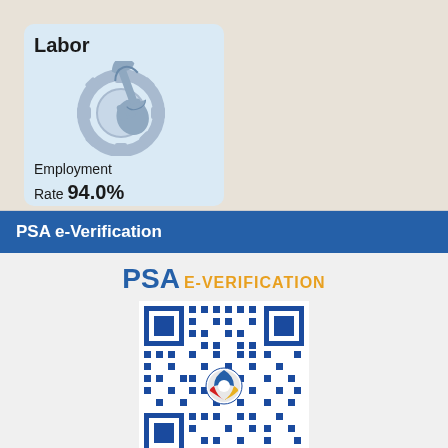[Figure (infographic): Labor infographic card with gear and wrench icon on light blue background. Shows Employment Rate 94.0% in June 2022.]
Employment Rate 94.0% in June 2022
PSA e-Verification
[Figure (infographic): PSA E-VERIFICATION logo with QR code containing PSA globe logo in the center.]